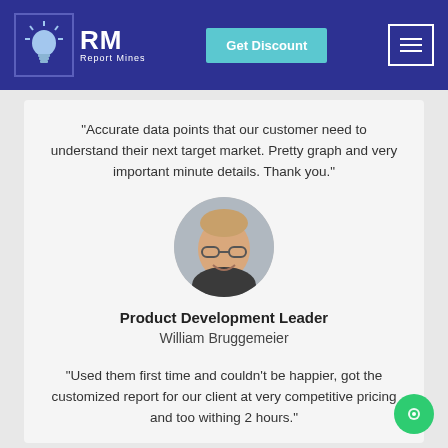RM Report Mines | Get Discount | Menu
"Accurate data points that our customer need to understand their next target market. Pretty graph and very important minute details. Thank you."
[Figure (photo): Circular headshot of William Bruggemeier, a middle-aged man with glasses, smiling, wearing a dark jacket.]
Product Development Leader
William Bruggemeier
"Used them first time and couldn't be happier, got the customized report for our client at very competitive pricing and too withing 2 hours."